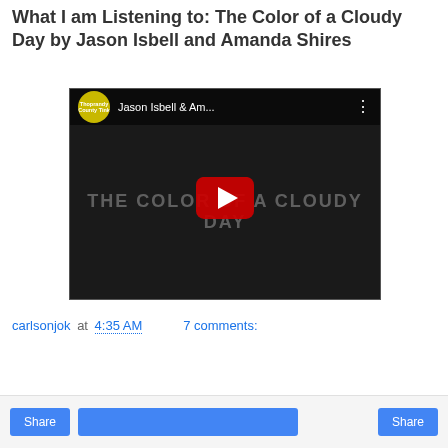What I am Listening to: The Color of a Cloudy Day by Jason Isbell and Amanda Shires
[Figure (screenshot): YouTube video thumbnail showing Jason Isbell & Am... with a couple leaning toward each other in dark lighting, text THE COLOR OF A CLOUDY DAY overlaid, red play button in center, channel icon top left]
carlsonjok at 4:35 AM   7 comments:
Share